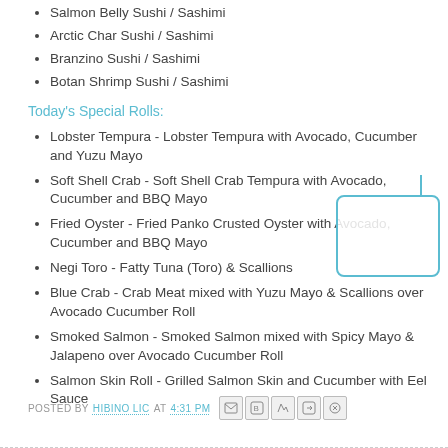Salmon Belly Sushi / Sashimi
Arctic Char Sushi / Sashimi
Branzino Sushi / Sashimi
Botan Shrimp Sushi / Sashimi
Today's Special Rolls:
Lobster Tempura - Lobster Tempura with Avocado, Cucumber and Yuzu Mayo
Soft Shell Crab - Soft Shell Crab Tempura with Avocado, Cucumber and BBQ Mayo
Fried Oyster - Fried Panko Crusted Oyster with Avocado, Cucumber and BBQ Mayo
Negi Toro - Fatty Tuna (Toro) & Scallions
Blue Crab - Crab Meat mixed with Yuzu Mayo & Scallions over Avocado Cucumber Roll
Smoked Salmon - Smoked Salmon mixed with Spicy Mayo & Jalapeno over Avocado Cucumber Roll
Salmon Skin Roll - Grilled Salmon Skin and Cucumber with Eel Sauce
POSTED BY HIBINO LIC AT 4:31 PM